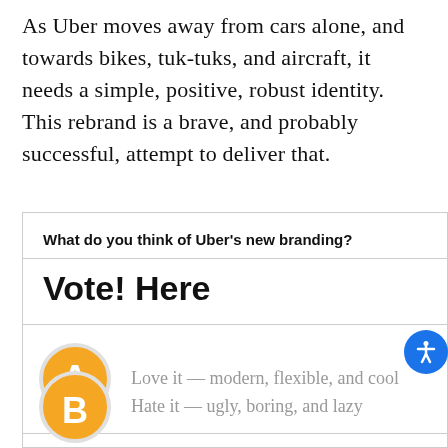As Uber moves away from cars alone, and towards bikes, tuk-tuks, and aircraft, it needs a simple, positive, robust identity. This rebrand is a brave, and probably successful, attempt to deliver that.
What do you think of Uber's new branding?
Vote! Here
A — Love it — modern, flexible, and cool
B — Hate it — ugly, boring, and lazy